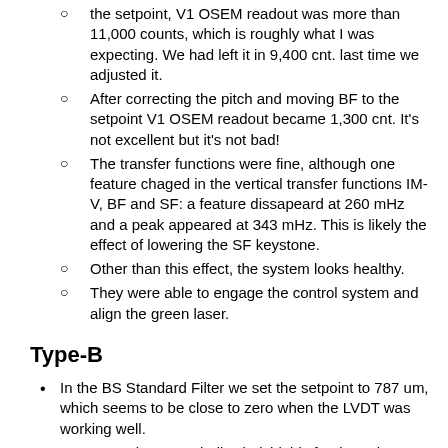the setpoint, V1 OSEM readout was more than 11,000 counts, which is roughly what I was expecting. We had left it in 9,400 cnt. last time we adjusted it.
After correcting the pitch and moving BF to the setpoint V1 OSEM readout became 1,300 cnt. It's not excellent but it's not bad!
The transfer functions were fine, although one feature chaged in the vertical transfer functions IM-V, BF and SF: a feature dissapeard at 260 mHz and a peak appeared at 343 mHz. This is likely the effect of lowering the SF keystone.
Other than this effect, the system looks healthy.
They were able to engage the control system and align the green laser.
Type-B
In the BS Standard Filter we set the setpoint to 787 um, which seems to be close to zero when the LVDT was working well.
In SRM and SR2 we built windshields for the oplevs. Terrence did before and after